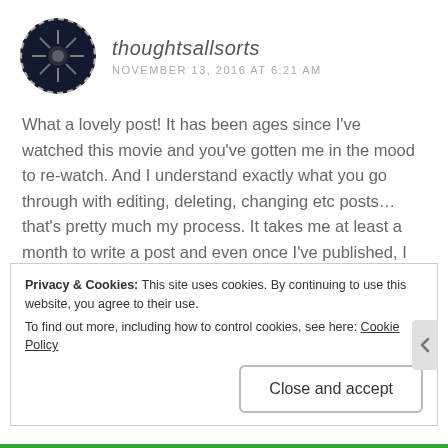thoughtsallsorts — NOVEMBER 13, 2016 AT 6:21 AM
What a lovely post! It has been ages since I've watched this movie and you've gotten me in the mood to re-watch. And I understand exactly what you go through with editing, deleting, changing etc posts…that's pretty much my process. It takes me at least a month to write a post and even once I've published, I find myself changing little errors or grammatical aspects.
Privacy & Cookies: This site uses cookies. By continuing to use this website, you agree to their use. To find out more, including how to control cookies, see here: Cookie Policy
Close and accept